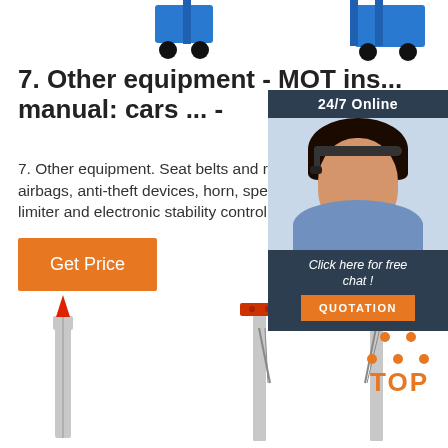[Figure (photo): Top area showing partial product images - blue wheeled equipment pieces on white background]
7. Other equipment - MOT ins... manual: cars ... -
7. Other equipment. Seat belts and restraint airbags, anti-theft devices, horn, speedomete... limiter and electronic stability control (ESC) r...
[Figure (infographic): 24/7 Online chat advertisement panel with agent photo, 'Click here for free chat!' and QUOTATION button]
[Figure (photo): Button: Get Price - orange button]
[Figure (photo): Bottom left: stake/post product image with red top]
[Figure (photo): Bottom right: goal-post style equipment with chains and TOP badge in orange]